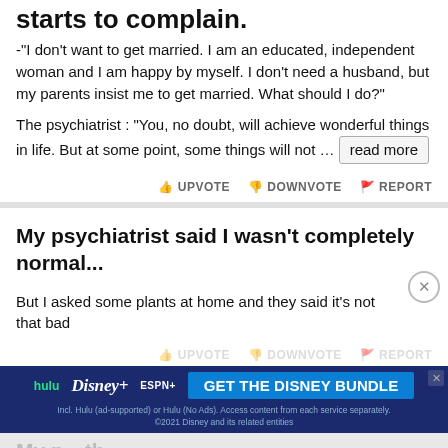starts to complain.
-"I don't want to get married. I am an educated, independent woman and I am happy by myself. I don't need a husband, but my parents insist me to get married. What should I do?"
The psychiatrist : "You, no doubt, will achieve wonderful things in life. But at some point, some things will not … read more
My psychiatrist said I wasn't completely normal...
But I asked some plants at home and they said it's not that bad
[Figure (screenshot): Hulu Disney+ ESPN+ GET THE DISNEY BUNDLE advertisement banner]
My p... th revenge.